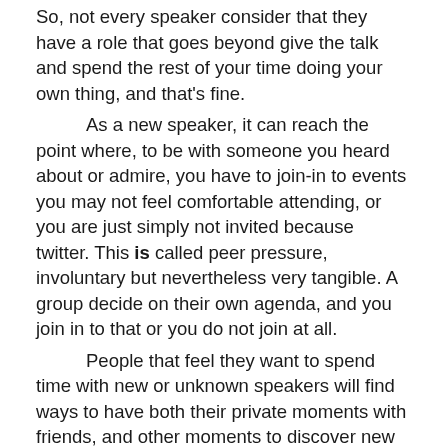So, not every speaker consider that they have a role that goes beyond give the talk and spend the rest of your time doing your own thing, and that's fine.
	As a new speaker, it can reach the point where, to be with someone you heard about or admire, you have to join-in to events you may not feel comfortable attending, or you are just simply not invited because twitter. This is called peer pressure, involuntary but nevertheless very tangible. A group decide on their own agenda, and you join in to that or you do not join at all.
	People that feel they want to spend time with new or unknown speakers will find ways to have both their private moments with friends, and other moments to discover new people. I think that's a healthy attitude and as close as a win-win as you can get. Others will consider that anything outside of